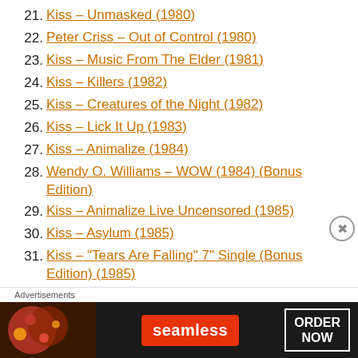21. Kiss – Unmasked (1980)
22. Peter Criss – Out of Control (1980)
23. Kiss – Music From The Elder (1981)
24. Kiss – Killers (1982)
25. Kiss – Creatures of the Night (1982)
26. Kiss – Lick It Up (1983)
27. Kiss – Animalize (1984)
28. Wendy O. Williams – WOW (1984) (Bonus Edition)
29. Kiss – Animalize Live Uncensored (1985)
30. Kiss – Asylum (1985)
31. Kiss – "Tears Are Falling" 7" Single (Bonus Edition) (1985)
32. Kiss – Creatures of the Night (1985 Re-Issue)
[Figure (photo): Seamless food delivery advertisement showing pizza and ORDER NOW button]